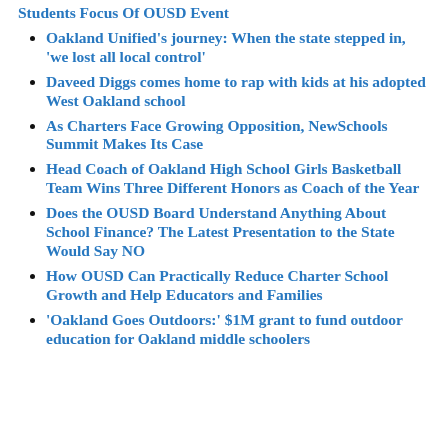Students Focus Of OUSD Event
Oakland Unified’s journey: When the state stepped in, ‘we lost all local control’
Daveed Diggs comes home to rap with kids at his adopted West Oakland school
As Charters Face Growing Opposition, NewSchools Summit Makes Its Case
Head Coach of Oakland High School Girls Basketball Team Wins Three Different Honors as Coach of the Year
Does the OUSD Board Understand Anything About School Finance? The Latest Presentation to the State Would Say NO
How OUSD Can Practically Reduce Charter School Growth and Help Educators and Families
‘Oakland Goes Outdoors:’ $1M grant to fund outdoor education for Oakland middle schoolers